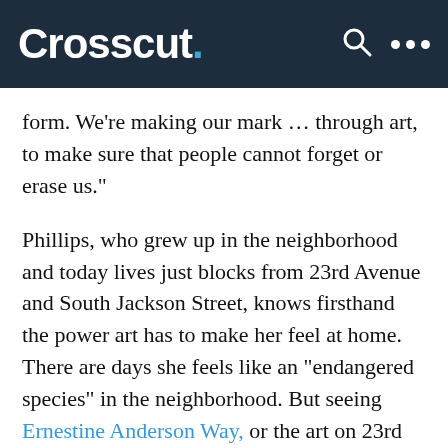Crosscut.
form. We’re making our mark … through art, to make sure that people cannot forget or erase us.”
Phillips, who grew up in the neighborhood and today lives just blocks from 23rd Avenue and South Jackson Street, knows firsthand the power art has to make her feel at home. There are days she feels like an “endangered species” in the neighborhood. But seeing Ernestine Anderson Way, or the art on 23rd and Jackson, “reminds me that I am in a community that once flourished with people like me. It was home of the little